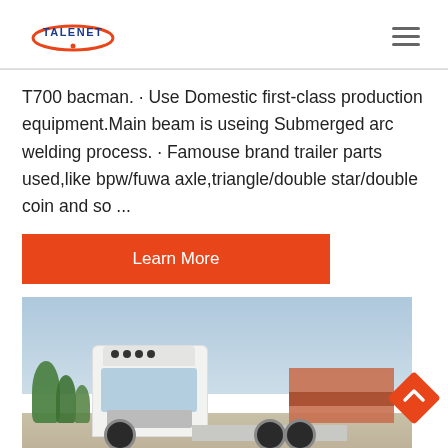[Figure (logo): Talenet logo with red swoosh and blue text]
T700 bachman. · Use Domestic first-class production equipment.Main beam is useing Submerged arc welding process. · Famouse brand trailer parts used,like bpw/fuwa axle,triangle/double star/double coin and so ...
Learn More
[Figure (photo): White Sinotruk HOWO T7H semi-truck / tractor head photographed outdoors in a yard, with trees and buildings in the background under a partly cloudy sky.]